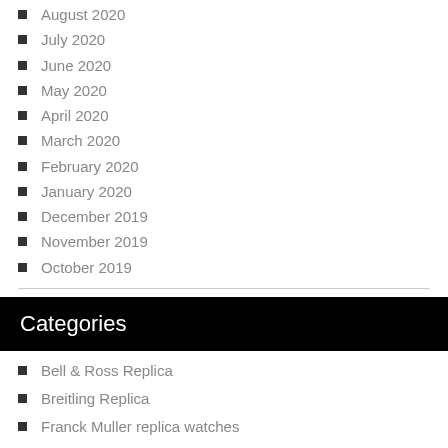August 2020
July 2020
June 2020
May 2020
April 2020
March 2020
February 2020
January 2020
December 2019
November 2019
October 2019
Categories
Bell & Ross Replica
Breitling Replica
Franck Muller replica watches
Hublot Replica